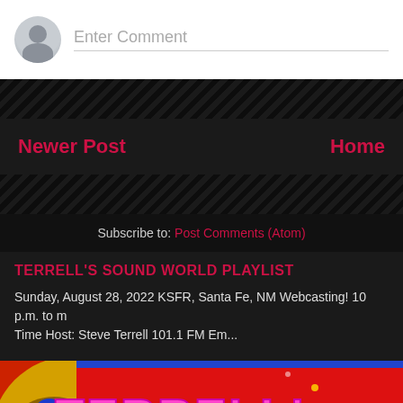Enter Comment
Newer Post
Home
Subscribe to: Post Comments (Atom)
TERRELL'S SOUND WORLD PLAYLIST
Sunday, August 28, 2022 KSFR, Santa Fe, NM Webcasting! 10 p.m. to m... Time Host: Steve Terrell 101.1 FM Em...
[Figure (photo): Colorful psychedelic graphic showing 'TERRELL'S SOUND WO...' text in large pink outlined letters on a vibrant red/blue/yellow background]